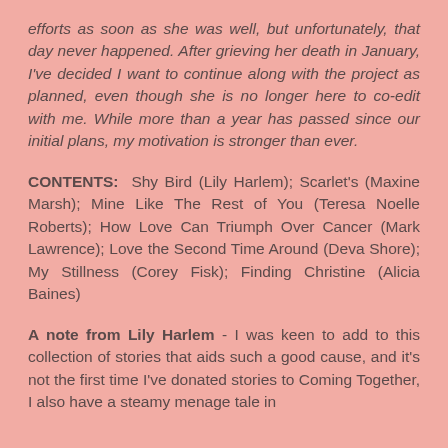efforts as soon as she was well, but unfortunately, that day never happened. After grieving her death in January, I've decided I want to continue along with the project as planned, even though she is no longer here to co-edit with me. While more than a year has passed since our initial plans, my motivation is stronger than ever.
CONTENTS: Shy Bird (Lily Harlem); Scarlet's (Maxine Marsh); Mine Like The Rest of You (Teresa Noelle Roberts); How Love Can Triumph Over Cancer (Mark Lawrence); Love the Second Time Around (Deva Shore); My Stillness (Corey Fisk); Finding Christine (Alicia Baines)
A note from Lily Harlem - I was keen to add to this collection of stories that aids such a good cause, and it's not the first time I've donated stories to Coming Together, I also have a steamy menage tale in